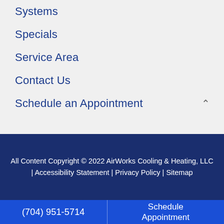Systems
Specials
Service Area
Contact Us
Schedule an Appointment
All Content Copyright © 2022 AirWorks Cooling & Heating, LLC | Accessibility Statement | Privacy Policy | Sitemap
(704) 951-5714
Schedule Appointment